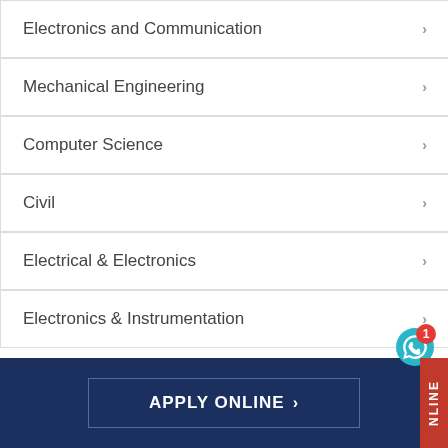Electronics and Communication
Mechanical Engineering
Computer Science
Civil
Electrical & Electronics
Electronics & Instrumentation
[Figure (screenshot): Dark navy blue footer section with 'APPLY ONLINE >' button in center, WhatsApp chat icon with notification badge showing '1' in teal circle, and red vertical tab on right side with 'NLINE' text]
APPLY ONLINE >